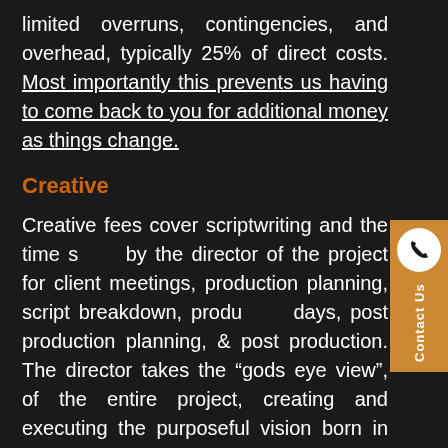limited overruns, contingencies, and overhead, typically 25% of direct costs. Most importantly this prevents us having to come back to you for additional money as things change.
Creative
Creative fees cover scriptwriting and the time spent by the director of the project for client meetings, production planning, script breakdown, production days, post production planning, & post production. The director takes the “gods eye view”, of the entire project, creating and executing the purposeful vision born in the initial phases of pre-production.